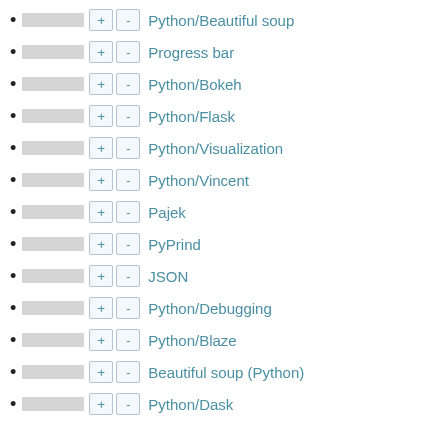Python/Beautiful soup
Progress bar
Python/Bokeh
Python/Flask
Python/Visualization
Python/Vincent
Pajek
PyPrind
JSON
Python/Debugging
Python/Blaze
Beautiful soup (Python)
Python/Dask